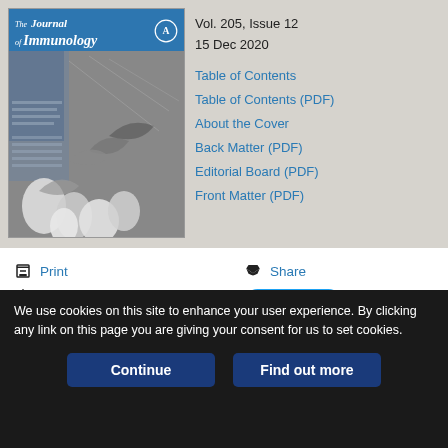[Figure (screenshot): Screenshot of The Journal of Immunology website showing Vol. 205, Issue 12, 15 Dec 2020 with journal cover image and navigation links including Table of Contents, Table of Contents (PDF), About the Cover, Back Matter (PDF), Editorial Board (PDF), Front Matter (PDF)]
Vol. 205, Issue 12
15 Dec 2020
Table of Contents
Table of Contents (PDF)
About the Cover
Back Matter (PDF)
Editorial Board (PDF)
Front Matter (PDF)
Print
Download PDF
Article Alerts
Email Article
Share
Tweet
We use cookies on this site to enhance your user experience. By clicking any link on this page you are giving your consent for us to set cookies.
Continue
Find out more